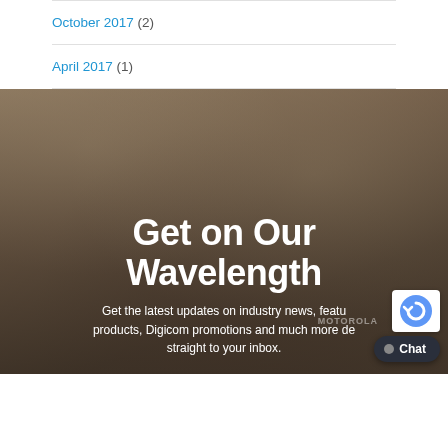October 2017 (2)
April 2017 (1)
[Figure (photo): Blurred background photo of a person holding a walkie-talkie or radio communication device, with overlaid text content about a newsletter signup.]
Get on Our Wavelength
Get the latest updates on industry news, featured products, Digicom promotions and much more delivered straight to your inbox.